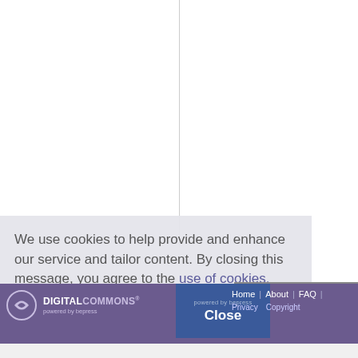We use cookies to help provide and enhance our service and tailor content. By closing this message, you agree to the use of cookies.
[Figure (logo): Digital Commons powered by bepress logo with white icon on purple background]
Close
Home | About | FAQ | Privacy Copyright